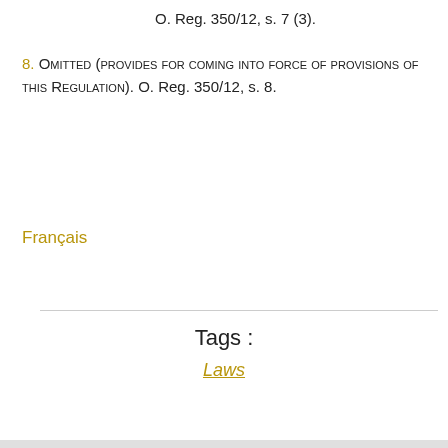O. Reg. 350/12, s. 7 (3).
8. Omitted (provides for coming into force of provisions of this Regulation). O. Reg. 350/12, s. 8.
Français
Tags :
Laws